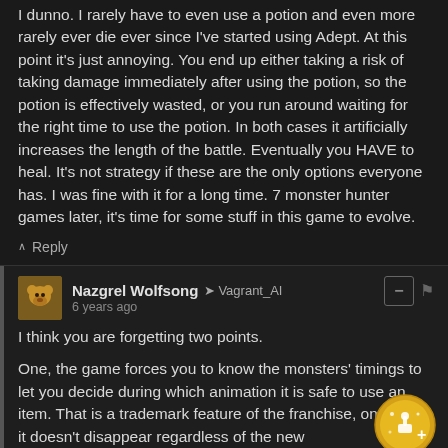I dunno. I rarely have to even use a potion and even more rarely ever die ever since I've started using Adept. At this point it's just annoying. You end up either taking a risk of taking damage immediately after using the potion, so the potion is effectively wasted, or you run around waiting for the right time to use the potion. In both cases it artificially increases the length of the battle. Eventually you HAVE to heal. It's not strategy if these are the only options everyone has. I was fine with it for a long time. 7 monster hunter games later, it's time for some stuff in this game to evolve.
Reply
Nazgrel Wolfsong → Vagrant_AI
6 years ago
I think you are forgetting two points.
One, the game forces you to know the monsters' timings to let you decide during which animation it is safe to use an item. That is a trademark feature of the franchise, one I hope it doesn't disappear regardless of the new